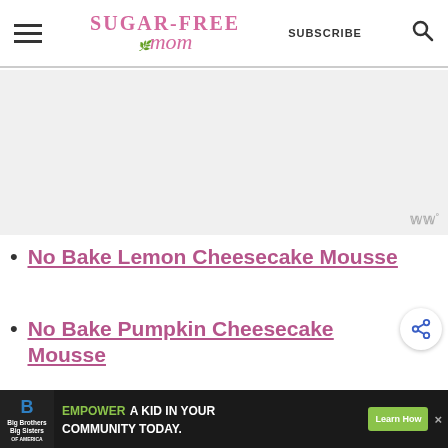Sugar-Free Mom — SUBSCRIBE
[Figure (other): Advertisement placeholder area with Mediavine watermark]
No Bake Lemon Cheesecake Mousse
No Bake Pumpkin Cheesecake Mousse
No Bake Mocha Mousse
[Figure (other): Bottom advertisement banner: Big Brothers Big Sisters — EMPOWER A KID IN YOUR COMMUNITY TODAY. Learn How]